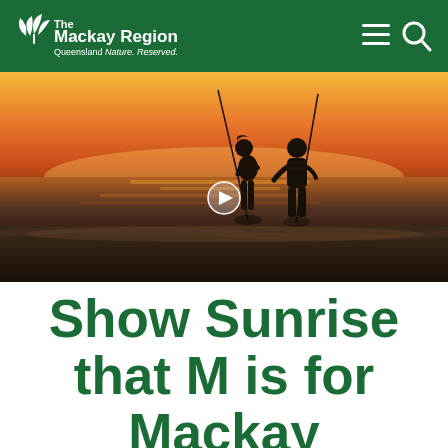The Mackay Region — Queensland Nature. Reserved.
[Figure (photo): Two people fishing with rods at a beach during a dramatic orange and gold sunset, silhouetted against the water.]
Show Sunrise that M is for Mackay